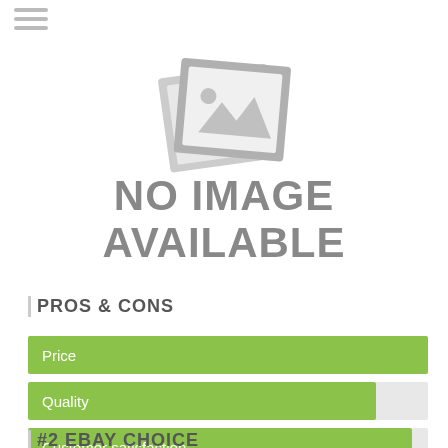[Figure (illustration): No image available placeholder icon: two overlapping image frames with mountain/photo icon in gray]
NO IMAGE AVAILABLE
PROS & CONS
[Figure (bar-chart): Pros & Cons]
#2 EBAY CHOICE